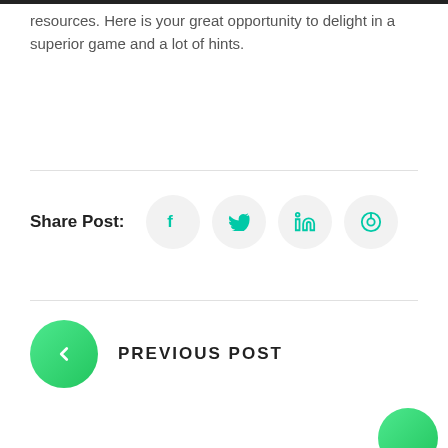resources. Here is your great opportunity to delight in a superior game and a lot of hints.
[Figure (infographic): Share Post section with social media icon buttons for Facebook, Twitter, LinkedIn, and Pinterest]
PREVIOUS POST